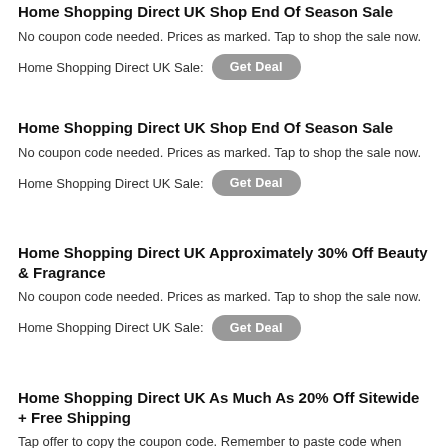Home Shopping Direct UK Shop End Of Season Sale
No coupon code needed. Prices as marked. Tap to shop the sale now.
Home Shopping Direct UK Sale:  Get Deal
Home Shopping Direct UK Shop End Of Season Sale
No coupon code needed. Prices as marked. Tap to shop the sale now.
Home Shopping Direct UK Sale:  Get Deal
Home Shopping Direct UK Approximately 30% Off Beauty & Fragrance
No coupon code needed. Prices as marked. Tap to shop the sale now.
Home Shopping Direct UK Sale:  Get Deal
Home Shopping Direct UK As Much As 20% Off Sitewide + Free Shipping
Tap offer to copy the coupon code. Remember to paste code when